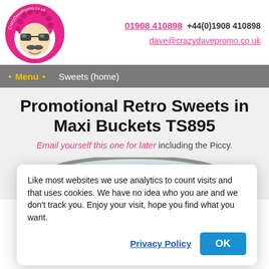[Figure (logo): CrazyDavePromo.co.uk circular logo with cartoon character face with afro and sunglasses on pink background]
01908 410898  +44(0)1908 410898  dave@crazydavepromo.co.uk
• Menu •  Sweets (home)
Promotional Retro Sweets in Maxi Buckets TS895
Email yourself this one for later including the Piccy.
[Figure (photo): Top portion of a metallic bucket/tin with chrome lid, partially visible]
Like most websites we use analytics to count visits and that uses cookies. We have no idea who you are and we don't track you. Enjoy your visit, hope you find what you want.
Privacy Policy  OK